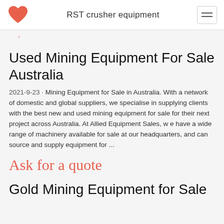RST crusher equipment
Used Mining Equipment For Sale Australia
2021-9-23 · Mining Equipment for Sale in Australia. With a network of domestic and global suppliers, we specialise in supplying clients with the best new and used mining equipment for sale for their next project across Australia. At Allied Equipment Sales, w e have a wide range of machinery available for sale at our headquarters, and can source and supply equipment for ...
Ask for a quote
Gold Mining Equipment for Sale